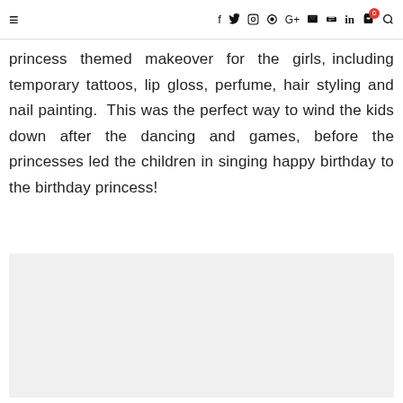≡  f  𝐭  𝐢  𝐩  G+  ▶  in  🛒  🔍
princess themed makeover for the girls, including temporary tattoos, lip gloss, perfume, hair styling and nail painting.  This was the perfect way to wind the kids down after the dancing and games, before the princesses led the children in singing happy birthday to the birthday princess!
[Figure (photo): Light grey rectangular image placeholder]